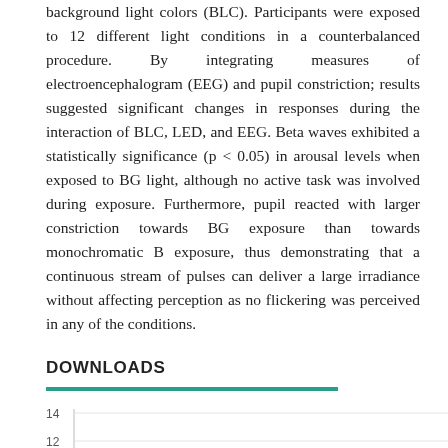background light colors (BLC). Participants were exposed to 12 different light conditions in a counterbalanced procedure. By integrating measures of electroencephalogram (EEG) and pupil constriction; results suggested significant changes in responses during the interaction of BLC, LED, and EEG. Beta waves exhibited a statistically significance (p < 0.05) in arousal levels when exposed to BG light, although no active task was involved during exposure. Furthermore, pupil reacted with larger constriction towards BG exposure than towards monochromatic B exposure, thus demonstrating that a continuous stream of pulses can deliver a large irradiance without affecting perception as no flickering was perceived in any of the conditions.
DOWNLOADS
[Figure (continuous-plot): Partial bar or line chart showing download counts, y-axis visible with values 14 and 12]